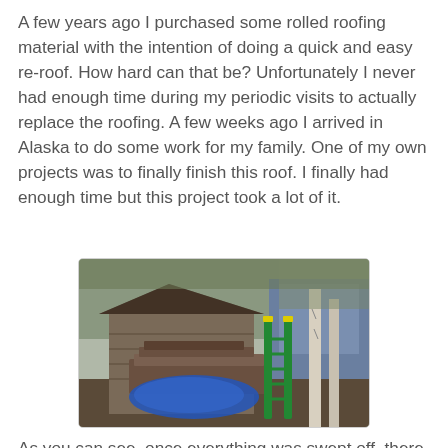A few years ago I purchased some rolled roofing material with the intention of doing a quick and easy re-roof. How hard can that be? Unfortunately I never had enough time during my periodic visits to actually replace the roofing. A few weeks ago I arrived in Alaska to do some work for my family. One of my own projects was to finally finish this roof. I finally had enough time but this project took a lot of it.
[Figure (photo): Outdoor photo of a small wooden shed with old roofing material, a green ladder leaning against it, a blue tarp on the ground in front, and birch trees in the background.]
As you can see, once everything was swept off, there actually wasn't much roof left.